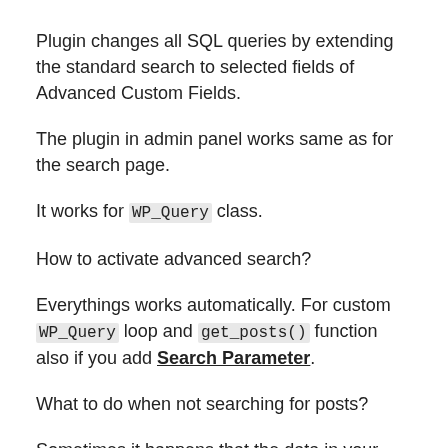Plugin changes all SQL queries by extending the standard search to selected fields of Advanced Custom Fields.
The plugin in admin panel works same as for the search page.
It works for WP_Query class.
How to activate advanced search?
Everythings works automatically. For custom WP_Query loop and get_posts() function also if you add Search Parameter.
What to do when not searching for posts?
Sometimes it happens that the data in your database is